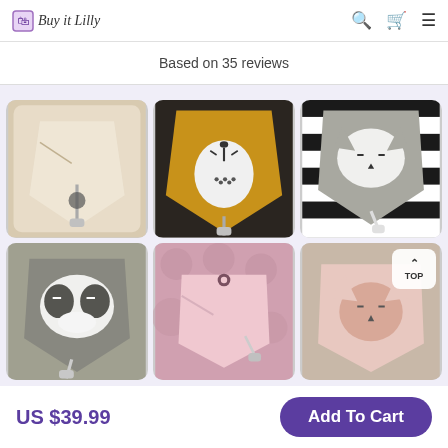Buy it Lilly
Based on 35 reviews
[Figure (photo): Six product photos of baby bandana bibs with animal face designs and pacifier clips arranged in a 3x2 grid]
US $39.99
Add To Cart